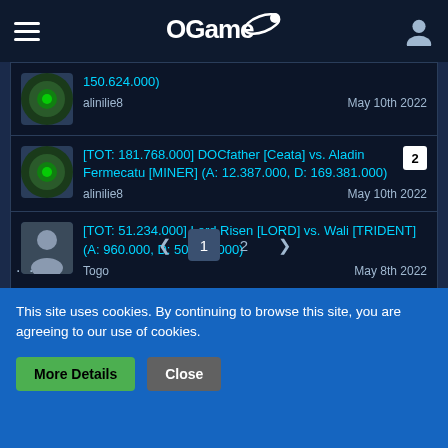OGame
150.624.000)
alinilie8
May 10th 2022
[TOT: 181.768.000] DOCfather [Ceata] vs. Aladin Fermecatu [MINER] (A: 12.387.000, D: 169.381.000)
alinilie8
May 10th 2022
[TOT: 51.234.000] Lord Risen [LORD] vs. Wali [TRIDENT] (A: 960.000, D: 50.274.000)
Togo
May 8th 2022
1  2
This site uses cookies. By continuing to browse this site, you are agreeing to our use of cookies.
More Details   Close